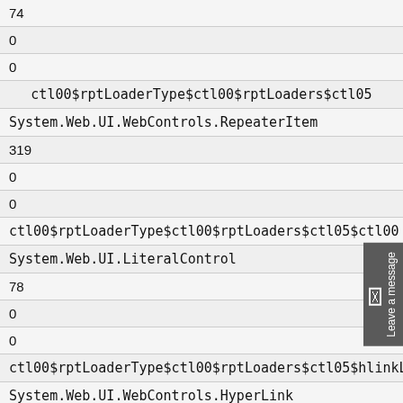| 74 |
| 0 |
| 0 |
| ctl00$rptLoaderType$ctl00$rptLoaders$ctl05 |
| System.Web.UI.WebControls.RepeaterItem |
| 319 |
| 0 |
| 0 |
| ctl00$rptLoaderType$ctl00$rptLoaders$ctl05$ctl00 |
| System.Web.UI.LiteralControl |
| 78 |
| 0 |
| 0 |
| ctl00$rptLoaderType$ctl00$rptLoaders$ctl05$hlinkLoade |
| System.Web.UI.WebControls.HyperLink |